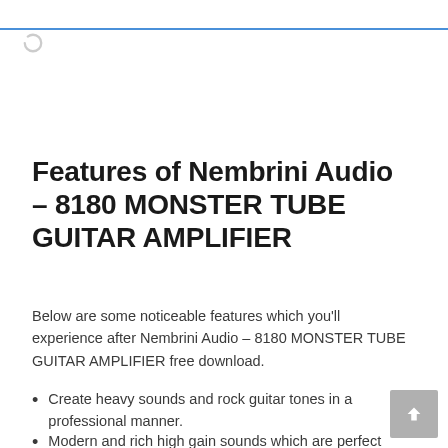Features of Nembrini Audio – 8180 MONSTER TUBE GUITAR AMPLIFIER
Below are some noticeable features which you'll experience after Nembrini Audio – 8180 MONSTER TUBE GUITAR AMPLIFIER free download.
Create heavy sounds and rock guitar tones in a professional manner.
Modern and rich high gain sounds which are perfect for